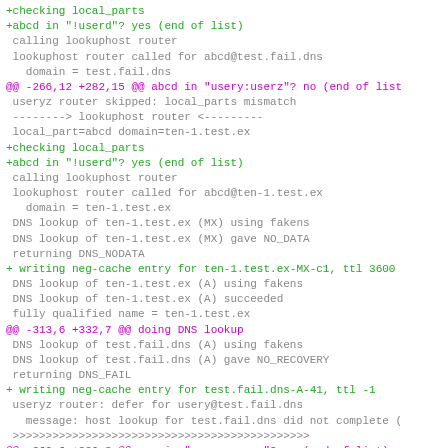Code/diff output showing DNS lookup debug trace with checking local_parts, abcd in !userd, calling lookuphost router, DNS lookups, neg-cache entries, and router defer messages.